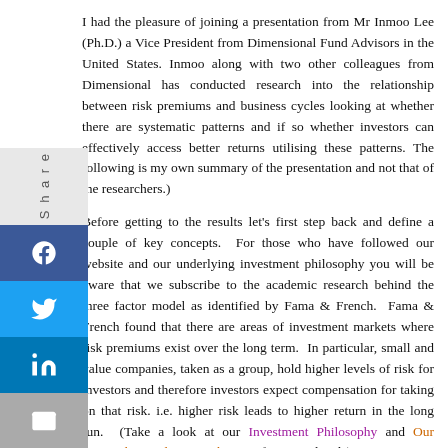I had the pleasure of joining a presentation from Mr Inmoo Lee (Ph.D.) a Vice President from Dimensional Fund Advisors in the United States. Inmoo along with two other colleagues from Dimensional has conducted research into the relationship between risk premiums and business cycles looking at whether there are systematic patterns and if so whether investors can effectively access better returns utilising these patterns. The following is my own summary of the presentation and not that of the researchers.)
Before getting to the results let's first step back and define a couple of key concepts. For those who have followed our website and our underlying investment philosophy you will be aware that we subscribe to the academic research behind the three factor model as identified by Fama & French. Fama & French found that there are areas of investment markets where risk premiums exist over the long term. In particular, small and value companies, taken as a group, hold higher levels of risk for investors and therefore investors expect compensation for taking on that risk. i.e. higher risk leads to higher return in the long run. (Take a look at our Investment Philosophy and Our Research Based Approach pages for more details)
However, these risk premiums are not present all the time and over short run periods, small and or value companies may under perform the index.